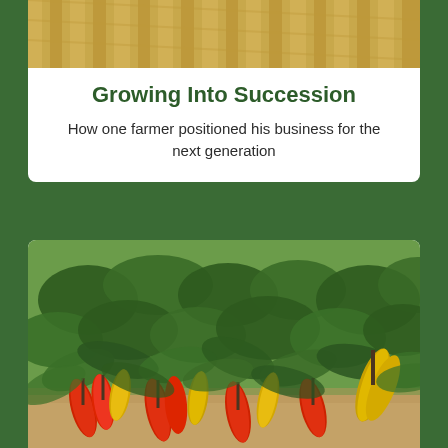[Figure (photo): Aerial view of crop field rows with golden/tan striped pattern]
Growing Into Succession
How one farmer positioned his business for the next generation
[Figure (photo): Close-up photo of pepper plants in a field with red and yellow peppers growing among green leaves]